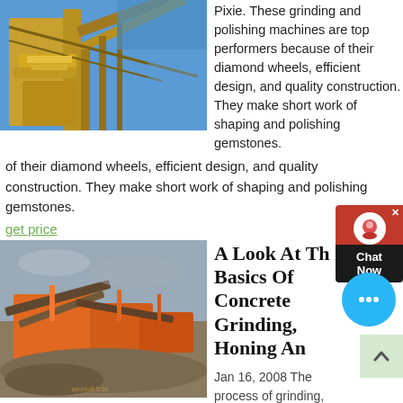[Figure (photo): Industrial yellow mining/crushing machinery with conveyor belts against a blue sky]
Pixie. These grinding and polishing machines are top performers because of their diamond wheels, efficient design, and quality construction. They make short work of shaping and polishing gemstones.
get price
[Figure (photo): Orange industrial concrete grinding/crushing equipment at a quarry site with rocky terrain]
A Look At The Basics Of Concrete Grinding, Honing An
Jan 16, 2008 The process of grinding, honing and polishing concrete is more technical than most realize. There are many pre-existing variables that can affect the end results of the process performed.